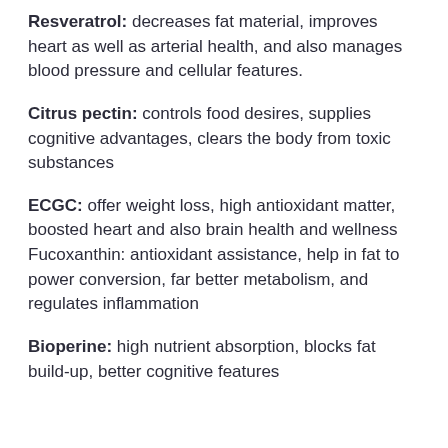Resveratrol: decreases fat material, improves heart as well as arterial health, and also manages blood pressure and cellular features.
Citrus pectin: controls food desires, supplies cognitive advantages, clears the body from toxic substances
ECGC: offer weight loss, high antioxidant matter, boosted heart and also brain health and wellness Fucoxanthin: antioxidant assistance, help in fat to power conversion, far better metabolism, and regulates inflammation
Bioperine: high nutrient absorption, blocks fat build-up, better cognitive features